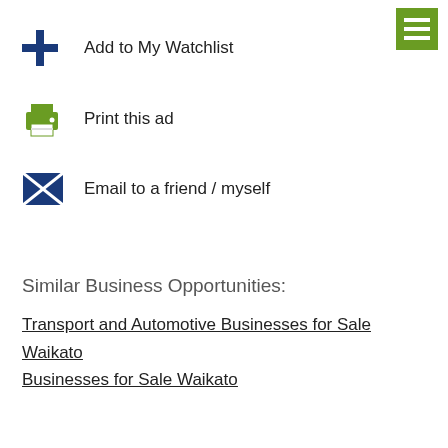Add to My Watchlist
Print this ad
Email to a friend / myself
Similar Business Opportunities:
Transport and Automotive Businesses for Sale Waikato
Businesses for Sale Waikato